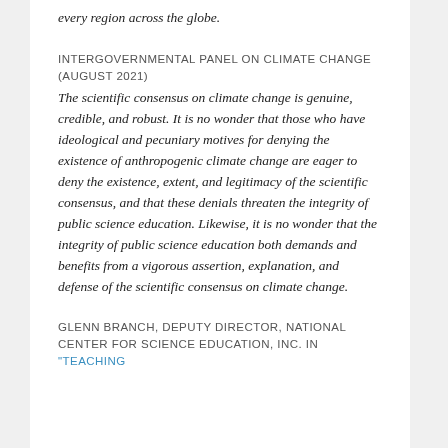every region across the globe.
INTERGOVERNMENTAL PANEL ON CLIMATE CHANGE (AUGUST 2021)
The scientific consensus on climate change is genuine, credible, and robust. It is no wonder that those who have ideological and pecuniary motives for denying the existence of anthropogenic climate change are eager to deny the existence, extent, and legitimacy of the scientific consensus, and that these denials threaten the integrity of public science education. Likewise, it is no wonder that the integrity of public science education both demands and benefits from a vigorous assertion, explanation, and defense of the scientific consensus on climate change.
GLENN BRANCH, DEPUTY DIRECTOR, NATIONAL CENTER FOR SCIENCE EDUCATION, INC. IN “TEACHING